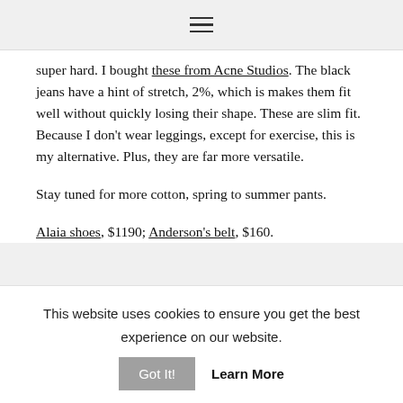≡ (hamburger menu icon)
super hard. I bought these from Acne Studios. The black jeans have a hint of stretch, 2%, which is makes them fit well without quickly losing their shape. These are slim fit. Because I don't wear leggings, except for exercise, this is my alternative. Plus, they are far more versatile.
Stay tuned for more cotton, spring to summer pants.
Alaia shoes, $1190; Anderson's belt, $160.
This website uses cookies to ensure you get the best experience on our website. Got It! Learn More